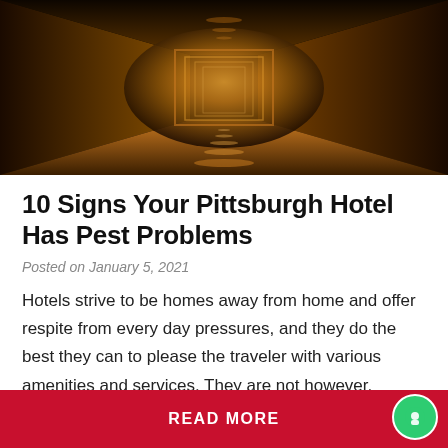[Figure (photo): Dark hotel corridor with warm amber/orange lighting receding into the distance, creating a dramatic tunnel-like perspective]
10 Signs Your Pittsburgh Hotel Has Pest Problems
Posted on January 5, 2021
Hotels strive to be homes away from home and offer respite from every day pressures, and they do the best they can to please the traveler with various amenities and services. They are not however, without their problems. Even the finest hotels keep a vigilant eye upon the potential invasion of non-paying …
READ MORE